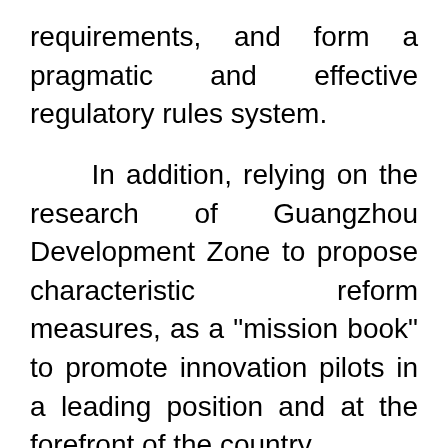requirements, and form a pragmatic and effective regulatory rules system.
In addition, relying on the research of Guangzhou Development Zone to propose characteristic reform measures, as a "mission book" to promote innovation pilots in a leading position and at the forefront of the country.
The "List of Featured Measures" proposes the first batch of 76 original and differentiated "featured reform measures" to explore more useful experience for innovative pilot work, and propose five focuses, including focusing on "small and medium-sized enterprises can do great things", and stimulating innovation and